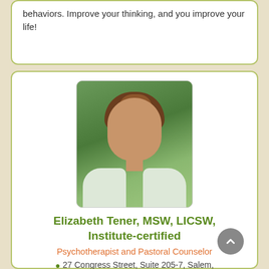behaviors. Improve your thinking, and you improve your life!
[Figure (photo): Portrait photo of Elizabeth Tener, a middle-aged woman with short reddish-brown hair, smiling, wearing a white top, with green foliage in the background.]
Elizabeth Tener, MSW, LICSW, Institute-certified
Psychotherapist and Pastoral Counselor
27 Congress Street, Suite 205-7, Salem,